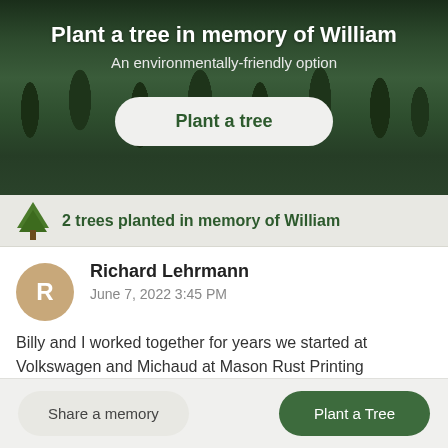[Figure (photo): Forest banner with dark green conifer trees as background]
Plant a tree in memory of William
An environmentally-friendly option
Plant a tree
2 trees planted in memory of William
Richard Lehrmann
June 7, 2022 3:45 PM
Billy and I worked together for years we started at Volkswagen and Michaud at Mason Rust Printing Department great times together memories never dies RIP my good friend .
Comment
Share a memory
Plant a Tree